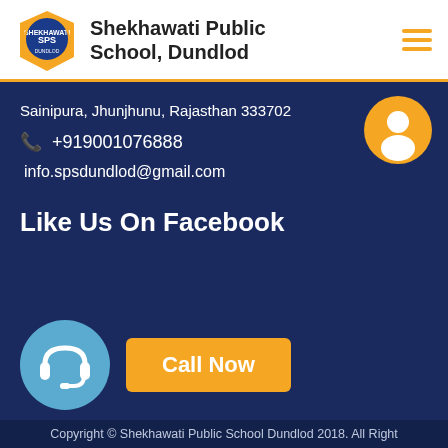Shekhawati Public School, Dundlod
Sainipura, Jhunjhunu, Rajasthan 333702
+919001076888
info.spsdundlod@gmail.com
Like Us On Facebook
[Figure (illustration): User avatar icon in orange circle]
[Figure (illustration): Headset icon in blue circle with Call Now button]
Copyright © Shekhawati Public School Dundlod 2018. All Right